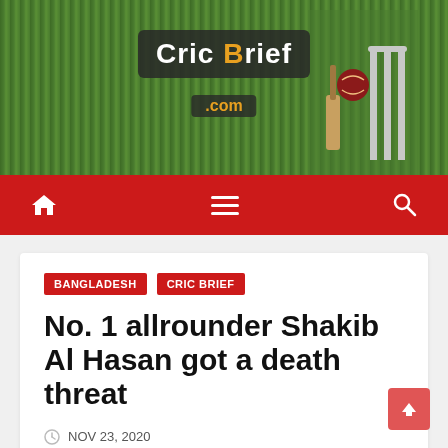[Figure (screenshot): CricBrief.com website header with cricket-themed green grass background, logo, and red navigation bar with home, hamburger menu, and search icons]
CricBrief.com
BANGLADESH  CRIC BRIEF
No. 1 allrounder Shakib Al Hasan got a death threat
NOV 23, 2020